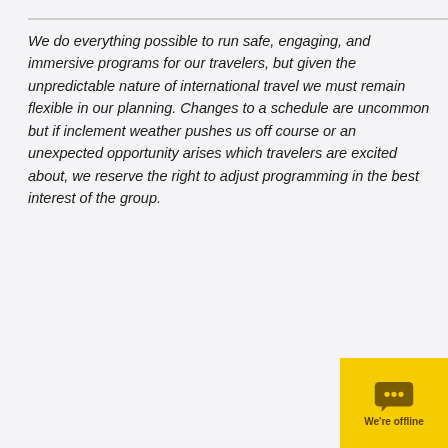We do everything possible to run safe, engaging, and immersive programs for our travelers, but given the unpredictable nature of international travel we must remain flexible in our planning. Changes to a schedule are uncommon but if inclement weather pushes us off course or an unexpected opportunity arises which travelers are excited about, we reserve the right to adjust programming in the best interest of the group.
| Day | Location | Description |
| --- | --- | --- |
| April | USA - | Today we'll |